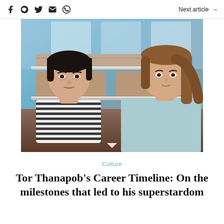Social share icons (Facebook, Line, Twitter, Email, WhatsApp) | Next article →
[Figure (photo): Two young people seated on a bus or train with brown leather seats. A young East Asian man with dark hair wearing a black and white striped t-shirt is in the foreground left, and a young woman with brown hair wearing a light blue top is to his right. Blue-lit background visible through windows.]
Culture
Tor Thanapob's Career Timeline: On the milestones that led to his superstardom